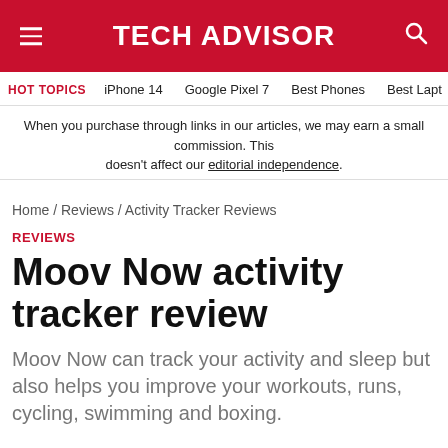TECH ADVISOR
HOT TOPICS  iPhone 14  Google Pixel 7  Best Phones  Best Lapt
When you purchase through links in our articles, we may earn a small commission. This doesn't affect our editorial independence.
Home / Reviews / Activity Tracker Reviews
REVIEWS
Moov Now activity tracker review
Moov Now can track your activity and sleep but also helps you improve your workouts, runs, cycling, swimming and boxing.